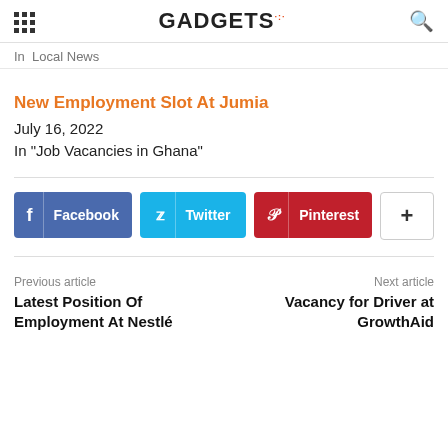GADGETS
In  Local News
New Employment Slot At Jumia
July 16, 2022
In "Job Vacancies in Ghana"
[Figure (other): Social share buttons: Facebook, Twitter, Pinterest, and a plus button]
Previous article
Latest Position Of Employment At Nestlé
Next article
Vacancy for Driver at GrowthAid